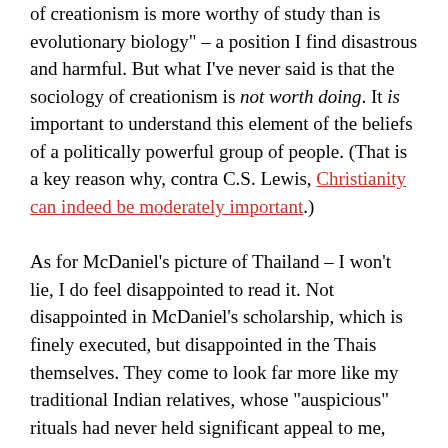of creationism is more worthy of study than is evolutionary biology" – a position I find disastrous and harmful. But what I've never said is that the sociology of creationism is not worth doing. It is important to understand this element of the beliefs of a politically powerful group of people. (That is a key reason why, contra C.S. Lewis, Christianity can indeed be moderately important.)

As for McDaniel's picture of Thailand – I won't lie, I do feel disappointed to read it. Not disappointed in McDaniel's scholarship, which is finely executed, but disappointed in the Thais themselves. They come to look far more like my traditional Indian relatives, whose "auspicious" rituals had never held significant appeal to me, than like the Buddhists in the books I have grown to love. And really this shouldn't have been a surprise to me, given how pervasive non-Buddhist Indian stories are in Thai culture. More than